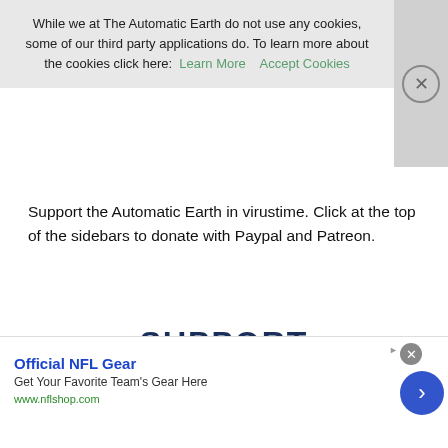While we at The Automatic Earth do not use any cookies, some of our third party applications do. To learn more about the cookies click here: Learn More   Accept Cookies
Support the Automatic Earth in virustime. Click at the top of the sidebars to donate with Paypal and Patreon.
[Figure (other): Support The Automatic Earth promotional banner with text 'SUPPORT THE AUTOMATIC EARTH on' with partial Patreon button visible]
[Figure (other): Advertisement banner: Official NFL Gear - Get Your Favorite Team's Gear Here - www.nflshop.com with navigation arrow button]